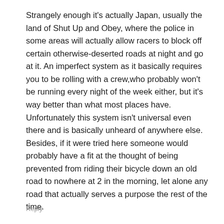Strangely enough it's actually Japan, usually the land of Shut Up and Obey, where the police in some areas will actually allow racers to block off certain otherwise-deserted roads at night and go at it. An imperfect system as it basically requires you to be rolling with a crew,who probably won't be running every night of the week either, but it's way better than what most places have. Unfortunately this system isn't universal even there and is basically unheard of anywhere else. Besides, if it were tried here someone would probably have a fit at the thought of being prevented from riding their bicycle down an old road to nowhere at 2 in the morning, let alone any road that actually serves a purpose the rest of the time.
Reply